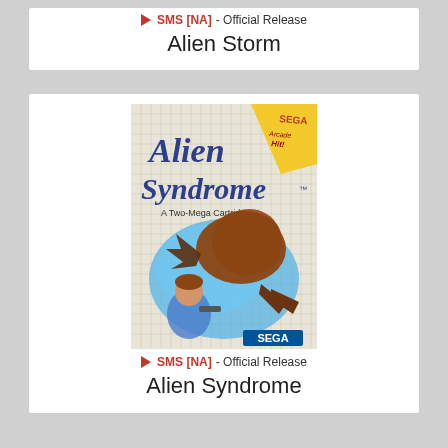🏷 SMS [NA] - Official Release
Alien Storm
[Figure (photo): Game cartridge cover art for Alien Syndrome by SEGA Master System. Shows a large alien creature attacking a boy with a gun, text reads 'Alien Syndrome - A Two-Mega Cartridge, Sega Arcade Hit!']
🏷 SMS [NA] - Official Release
Alien Syndrome